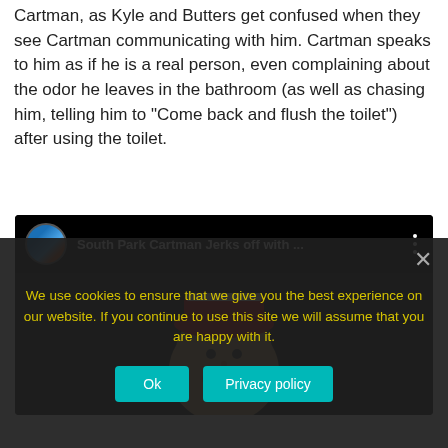Cartman, as Kyle and Butters get confused when they see Cartman communicating with him. Cartman speaks to him as if he is a real person, even complaining about the odor he leaves in the bathroom (as well as chasing him, telling him to “Come back and flush the toilet”) after using the toilet.
[Figure (screenshot): YouTube video embed showing 'South Park Cartman Jerks off with ...' with a channel avatar, video title, three-dot menu, and a dark thumbnail showing the Cartman character.]
We use cookies to ensure that we give you the best experience on our website. If you continue to use this site we will assume that you are happy with it.